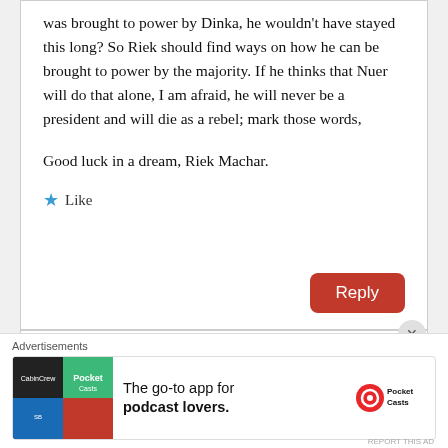was brought to power by Dinka, he wouldn't have stayed this long? So Riek should find ways on how he can be brought to power by the majority. If he thinks that Nuer will do that alone, I am afraid, he will never be a president and will die as a rebel; mark those words,
Good luck in a dream, Riek Machar.
★ Like
Reply
Advertisements
The go-to app for podcast lovers.
[Figure (logo): Pocket Casts app logo advertisement with colorful tile icon and Pocket Casts brand name]